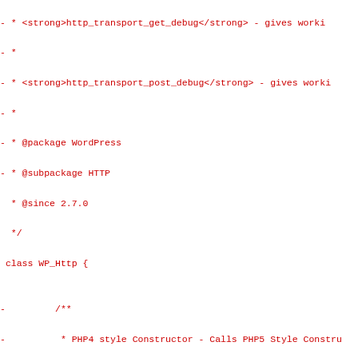[Figure (screenshot): Code diff view showing PHP code in red monospace font on white background. Lines show a class WP_Http with PHP4 and PHP5 style constructors, docblock comments with @package WordPress, @subpackage HTTP, @since 2.7.0, @return WP_Http annotations, and function definitions including WP_Http() calling $this->__construct() and __construct() method.]